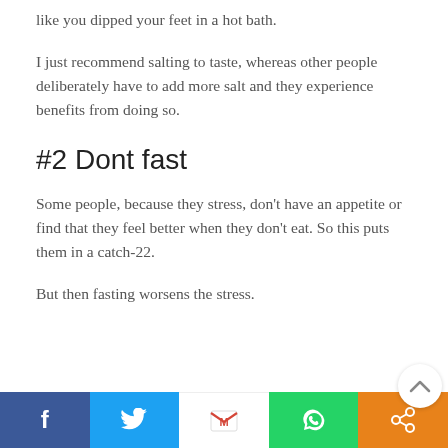like you dipped your feet in a hot bath.
I just recommend salting to taste, whereas other people deliberately have to add more salt and they experience benefits from doing so.
#2 Dont fast
Some people, because they stress, don't have an appetite or find that they feel better when they don't eat. So this puts them in a catch-22.
But then fasting worsens the stress.
Social share bar: Facebook, Twitter, Gmail, WhatsApp, Share